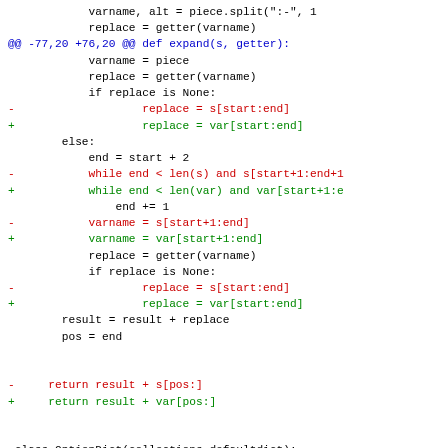Code diff showing changes to expand() function and OptionDict class